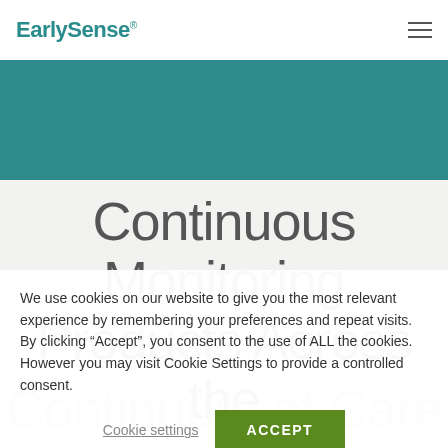EarlySense
[Figure (other): Teal/dark cyan decorative banner strip]
Continuous Monitoring Products Across the
We use cookies on our website to give you the most relevant experience by remembering your preferences and repeat visits. By clicking “Accept”, you consent to the use of ALL the cookies. However you may visit Cookie Settings to provide a controlled consent.
Cookie settings   ACCEPT